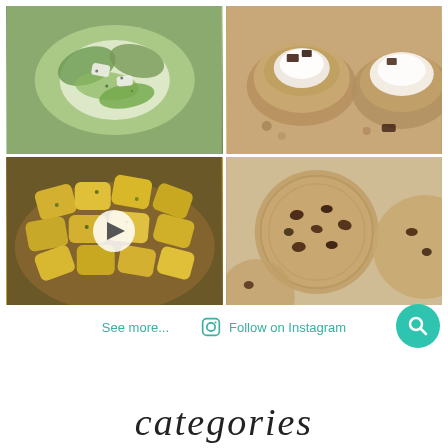[Figure (photo): Instagram grid showing 4 food photos: top-left is a green salad in a bowl, top-right is chocolate s'mores cookie cups, bottom-left is roasted corn pieces with herbs (video), bottom-right is chocolate chip cookies on parchment]
See more...
Follow on Instagram
categories